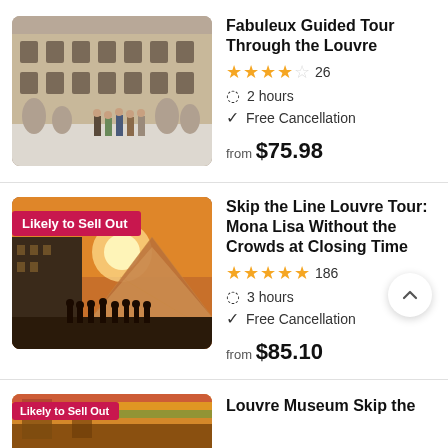[Figure (photo): Photo of the Louvre museum courtyard with sculptures and tourists standing in front]
Fabuleux Guided Tour Through the Louvre
★★★★☆ 26
⏱ 2 hours
✓ Free Cancellation
from $75.98
[Figure (photo): Photo of the Louvre pyramid at sunset with silhouettes of tourists, with badge 'Likely to Sell Out']
Skip the Line Louvre Tour: Mona Lisa Without the Crowds at Closing Time
★★★★½ 186
⏱ 3 hours
✓ Free Cancellation
from $85.10
[Figure (photo): Partial photo of a Louvre museum tour with badge 'Likely to Sell Out']
Louvre Museum Skip the